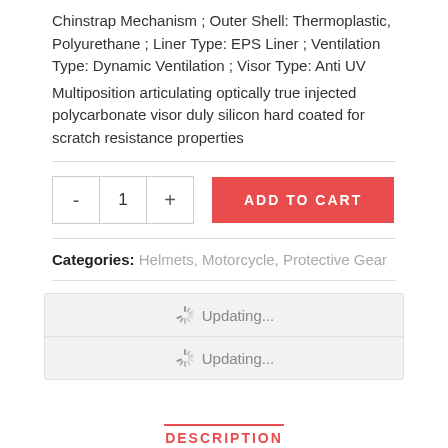Chinstrap Mechanism ; Outer Shell: Thermoplastic, Polyurethane ; Liner Type: EPS Liner ; Ventilation Type: Dynamic Ventilation ; Visor Type: Anti UV
Multiposition articulating optically true injected polycarbonate visor duly silicon hard coated for scratch resistance properties
Categories: Helmets, Motorcycle, Protective Gear
[Figure (screenshot): Two 'Updating...' loading rows with spinner icons in a light gray box]
DESCRIPTION